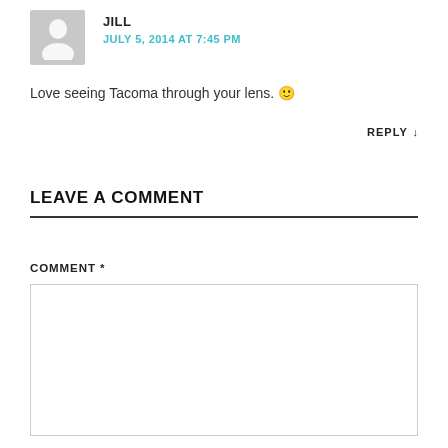[Figure (illustration): Gray avatar/placeholder image of a person silhouette]
JILL
JULY 5, 2014 AT 7:45 PM
Love seeing Tacoma through your lens. 🙂
REPLY ↓
LEAVE A COMMENT
COMMENT *
[Figure (other): Empty comment textarea input box]